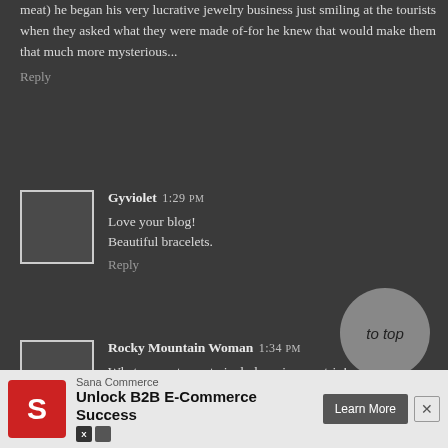meat) he began his very lucrative jewelry business just smiling at the tourists when they asked what they were made of-for he knew that would make them that much more mysterious...
Reply
Gyviolet 1:29 PM
Love your blog!
Beautiful bracelets.
Reply
Rocky Mountain Woman 1:34 PM
What a sweet way to include us in your trip!
Reply
[Figure (other): To top navigation circle button]
[Figure (other): Sana Commerce advertisement banner with logo, headline 'Unlock B2B E-Commerce Success', and Learn More button]